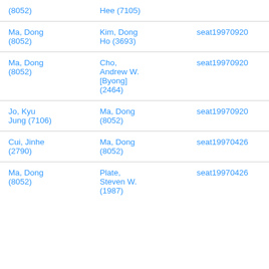| (8052) | Hee (7105) |  |
| Ma, Dong (8052) | Kim, Dong Ho (3693) | seat19970920 |
| Ma, Dong (8052) | Cho, Andrew W. [Byong] (2464) | seat19970920 |
| Jo, Kyu Jung (7106) | Ma, Dong (8052) | seat19970920 |
| Cui, Jinhe (2790) | Ma, Dong (8052) | seat19970426 |
| Ma, Dong (8052) | Plate, Steven W. (1987) | seat19970426 |